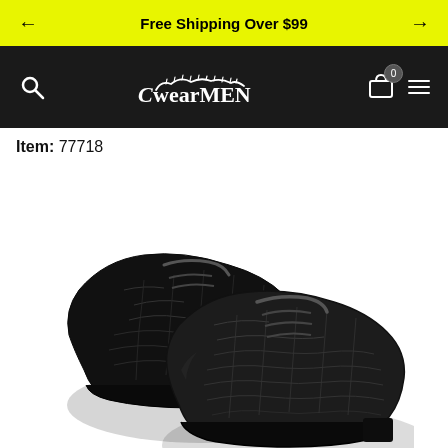Free Shipping Over $99
[Figure (logo): CwearMEN brand logo with decorative swoosh on dark navigation bar]
Item: 77718
[Figure (photo): Pair of black crocodile-textured leather dress shoes (Oxford/Derby style) displayed on white background, viewed from a 3/4 angle]